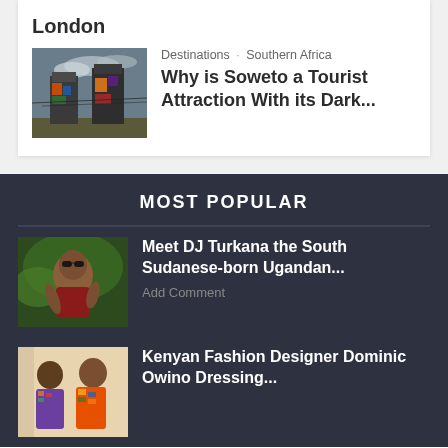[Figure (photo): Industrial cooling towers with colorful graffiti murals under a cloudy sky — Soweto, South Africa]
Destinations · Southern Africa
Why is Soweto a Tourist Attraction With its Dark...
MOST POPULAR
[Figure (photo): Woman wearing sunglasses outdoors — DJ Turkana]
Meet DJ Turkana the South Sudanese-born Ugandan...
Add Comment
[Figure (photo): Kenyan fashion designer Dominic Owino with a woman, both wearing African print clothing]
Kenyan Fashion Designer Dominic Owino Dressing...